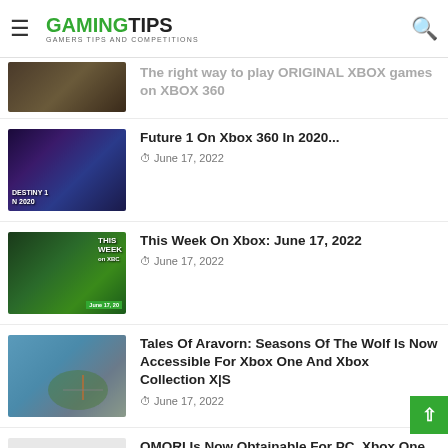GAMINGTIPS — GAMERS TIPS AND COMPETITIONS
The right way to play ORIGINAL XBOX games on XBOX 360
Future 1 On Xbox 360 In 2020...
June 17, 2022
This Week On Xbox: June 17, 2022
June 17, 2022
Tales Of Aravorn: Seasons Of The Wolf Is Now Accessible For Xbox One And Xbox Collection X|S
June 17, 2022
OMORI Is Now Obtainable For PC, Xbox One, And Xbox Collection X|S (Recreation Go)
June 17, 2022